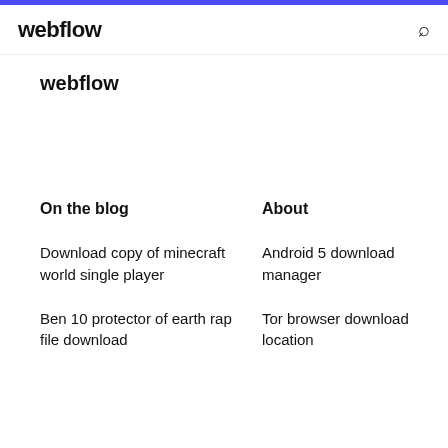webflow
webflow
On the blog
About
Download copy of minecraft world single player
Android 5 download manager
Ben 10 protector of earth rap file download
Tor browser download location